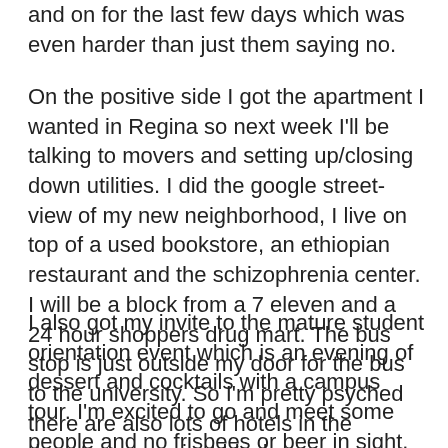and on for the last few days which was even harder than just them saying no.
On the positive side I got the apartment I wanted in Regina so next week I'll be talking to movers and setting up/closing down utilities. I did the google street-view of my new neighborhood, I live on top of a used bookstore, an ethiopian restaurant and the schizophrenia center. I will be a block from a 7 eleven and a 24 hour shoppers drug mart. The bus stop is just outside my door for the bus to the university. So I'm pretty psyched there are also lots of hotels in the downtown core just blocks away so you have a place to stay if you come visit.
I also got my invite to the mature student orientation event which is an evening of dessert and cocktails with a campus tour. I'm excited to go and meet some people and no frisbees or beer in sight. After they tried to put me in dorms i was a little worried that they didn't consider me a mature student but thankfully I am so I can hopefully find a niche and a few new people to meet.